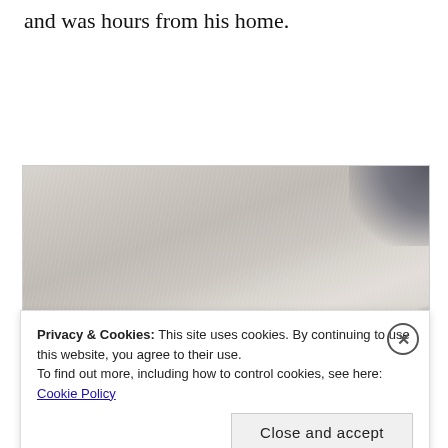and was hours from his home.
[Figure (photo): Close-up photo of what appears to be a grey fluffy cat or animal wrapped in or resting on a grey towel/blanket, with a dark background in the upper right corner. The animal's nose or skin is barely visible at the bottom.]
Privacy & Cookies: This site uses cookies. By continuing to use this website, you agree to their use.
To find out more, including how to control cookies, see here: Cookie Policy
Close and accept